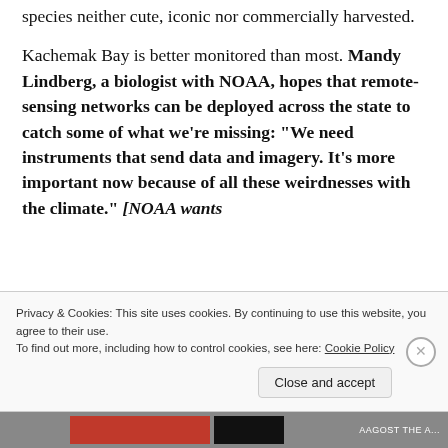species neither cute, iconic nor commercially harvested.
Kachemak Bay is better monitored than most. Mandy Lindberg, a biologist with NOAA, hopes that remote-sensing networks can be deployed across the state to catch some of what we're missing: “We need instruments that send data and imagery. It’s more important now because of all these weirdnesses with the climate.” [NOAA wants
Privacy & Cookies: This site uses cookies. By continuing to use this website, you agree to their use.
To find out more, including how to control cookies, see here: Cookie Policy